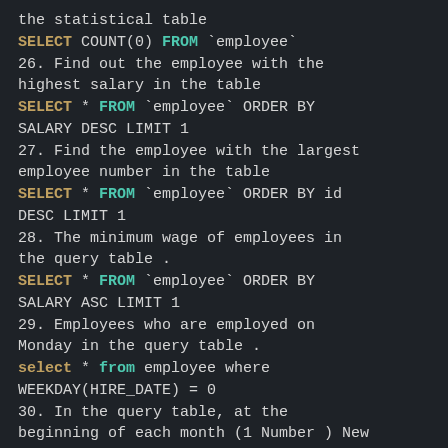the statistical table
26. Find out the employee with the highest salary in the table
27. Find the employee with the largest employee number in the table
28. The minimum wage of employees in the query table .
29. Employees who are employed on Monday in the query table .
30. In the query table, at the beginning of each month (1 Number ) New employees .